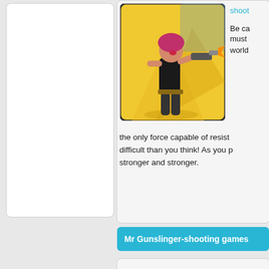[Figure (screenshot): Left sidebar card with white background, empty/placeholder content area]
[Figure (illustration): Anime-style female character in black outfit firing a gun, yellow action background]
shoot
Be ca must world the only force capable of resist difficult than you think! As you p stronger and stronger.
Mr Gunslinger-shooting games
[Figure (screenshot): Bottom card placeholder, gray background]